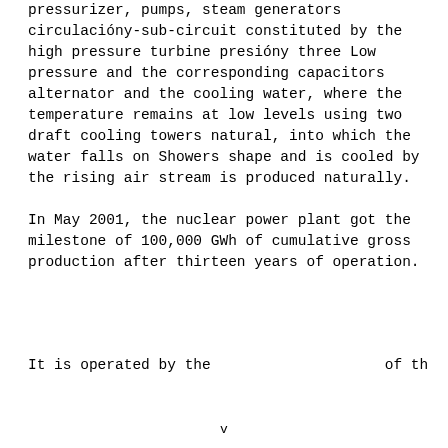pressurizer, pumps, steam generators circulacióny-sub-circuit constituted by the high pressure turbine presióny three Low pressure and the corresponding capacitors alternator and the cooling water, where the temperature remains at low levels using two draft cooling towers natural, into which the water falls on Showers shape and is cooled by the rising air stream is produced naturally.
In May 2001, the nuclear power plant got the milestone of 100,000 GWh of cumulative gross production after thirteen years of operation.
It is operated by the …
v